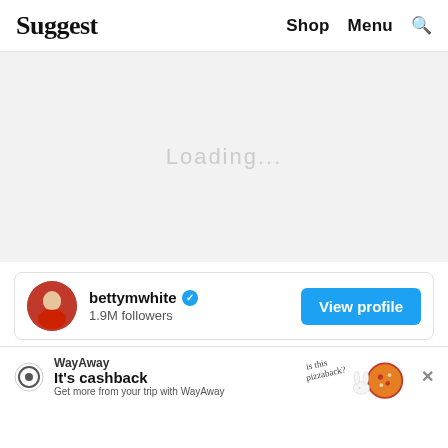Suggest  Shop  Menu  🔍
[Figure (other): Grey loading placeholder area with faint 'Loading...' text in center]
[Figure (infographic): Social media profile card for bettymwhite with verified blue checkmark, 1.9M followers, and a blue 'View profile' button]
[Figure (other): WayAway advertisement banner: 'It’s cashback - Get more from your trip with WayAway' with pizza illustration and 'is this pizzaback?' handwritten text, close X button]